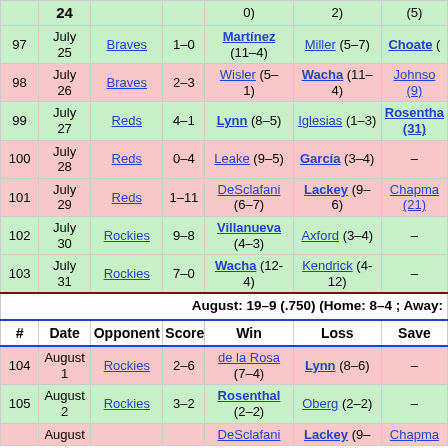| # | Date | Opponent | Score | Win | Loss | Save |
| --- | --- | --- | --- | --- | --- | --- |
| 97 | July 25 | Braves | 1–0 | Martínez (11–4) | Miller (5–7) | Choate (…) |
| 98 | July 26 | Braves | 2–3 | Wisler (5–1) | Wacha (11–4) | Johnson (9) |
| 99 | July 27 | Reds | 4–1 | Lynn (8–5) | Iglesias (1–3) | Rosenthal (31) |
| 100 | July 28 | Reds | 0–4 | Leake (9–5) | García (3–4) | – |
| 101 | July 29 | Reds | 1–11 | DeSclafani (6–7) | Lackey (9–6) | Chapman (21) |
| 102 | July 30 | Rockies | 9–8 | Villanueva (4–3) | Axford (3–4) | – |
| 103 | July 31 | Rockies | 7–0 | Wacha (12-4) | Kendrick (4-12) | – |
| August: 19–9 (.750) (Home: 8–4 ; Away:…) |
| # | Date | Opponent | Score | Win | Loss | Save |
| 104 | August 1 | Rockies | 2–6 | de la Rosa (7–4) | Lynn (8–6) | – |
| 105 | August 2 | Rockies | 3–2 | Rosenthal (2–2) | Oberg (2–2) | – |
| 106 | August … |  |  | DeSclafani (…) | Lackey (9-…) | Chapma… |